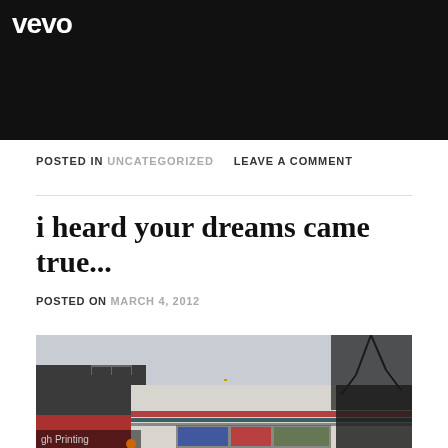[Figure (photo): Dark video thumbnail with white Vevo logo in top-left corner]
POSTED IN UNCATEGORIZED   LEAVE A COMMENT
i heard your dreams came true...
POSTED ON MARCH 4, 2012
[Figure (photo): Street-level photo of a commercial building with bare winter trees and storefront signs including 'gh Printing']